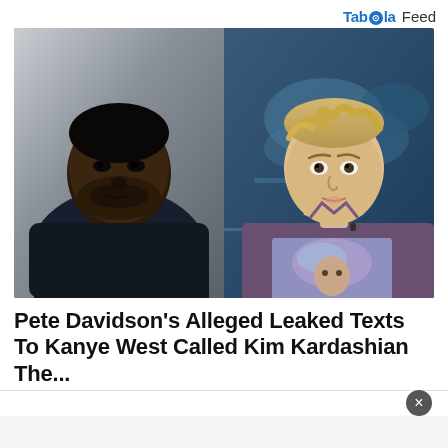Tab⊙ola Feed
[Figure (photo): Side-by-side photos: left shows a Black man wearing a dark navy t-shirt with a gold chain necklace against a gray background; right shows a young man with blonde hair wearing a purple/mauve button-up shirt over a colorful graphic tee, appearing to be on a TV set with a map background.]
Pete Davidson's Alleged Leaked Texts To Kanye West Called Kim Kardashian The...